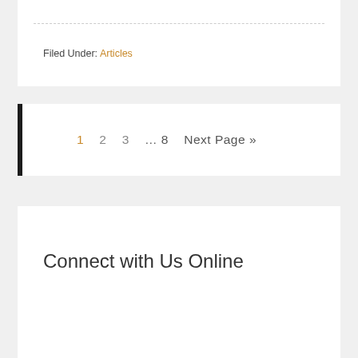Filed Under: Articles
1  2  3  … 8  Next Page »
Connect with Us Online